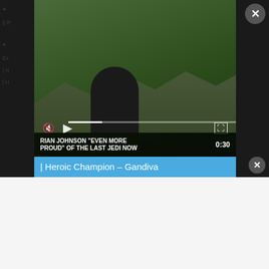[Figure (screenshot): Video player showing a man outdoors on rocky terrain, with title 'RIAN JOHNSON "EVEN MORE PROUD" OF THE LAST JEDI NOW' and duration 0:30]
| Heroic Champion – Gandiva
| Heroic Champion – Excalibur
| Gagaga Cowboy
| Number 39: Utopia Double
|| Heroic Champion – Jarngreipr
| Number 54: Lion Heart
| Borrelsword Dragon
| Gouki the Powerload Ogre
| Accesscode Talker
| Akashic Magician
| Isolde, Two Tales of the Noble Knights